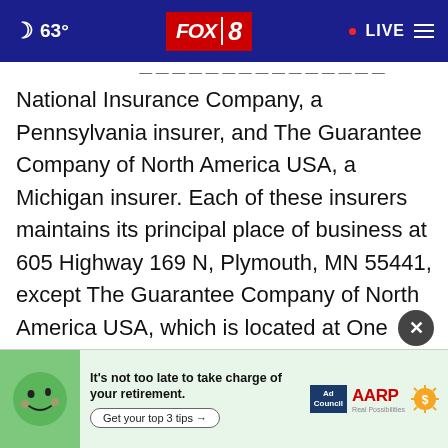FOX 8 | 63° | LIVE
National Insurance Company, a Pennsylvania insurer, and The Guarantee Company of North America USA, a Michigan insurer. Each of these insurers maintains its principal place of business at 605 Highway 169 N, Plymouth, MN 55441, except The Guarantee Company of North America USA, which is located at One Towne Square, Southfield, MI 48076. For information about Intact Financial Corporation, visit intac
[Figure (screenshot): AARP advertisement banner: 'It's not too late to take charge of your retirement. Get your top 3 tips →' with Ad Council and AARP logos and a green mascot character.]